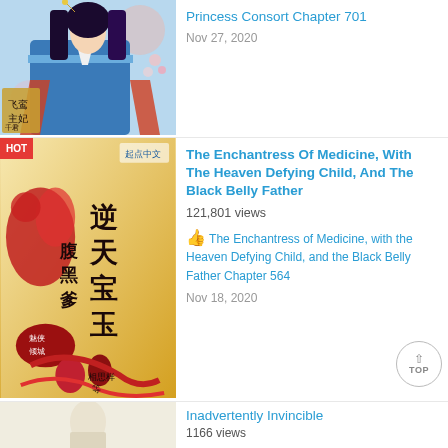[Figure (illustration): Manga-style book cover with a woman in traditional Chinese attire with purple hair, blue and red clothing, flowers and Chinese characters]
Princess Consort Chapter 701
Nov 27, 2020
[Figure (illustration): Chinese novel book cover with red and gold theme, calligraphy characters, couple in traditional red dress, HOT badge in corner]
The Enchantress Of Medicine, With The Heaven Defying Child, And The Black Belly Father
121,801 views
The Enchantress of Medicine, with the Heaven Defying Child, and the Black Belly Father Chapter 564
Nov 18, 2020
[Figure (illustration): Partial book cover for Inadvertently Invincible, light colored with a figure]
Inadvertently Invincible
1166 views